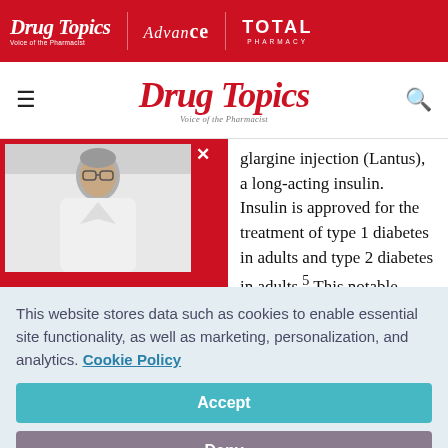Drug Topics | Advance | TOTAL PHARMACY
Drug Topics — Voice of the Pharmacist
glargine injection (Lantus), a long-acting insulin. Insulin is approved for the treatment of type 1 diabetes in adults and type 2 diabetes in adults.5 This notable biosimilar approval will help make insulin available for patients as insulin prices have
[Figure (photo): Red popup box with close X button overlaying a photo of a person (pharmacist or healthcare professional) in white coat]
This website stores data such as cookies to enable essential site functionality, as well as marketing, personalization, and analytics. Cookie Policy
Accept
Deny